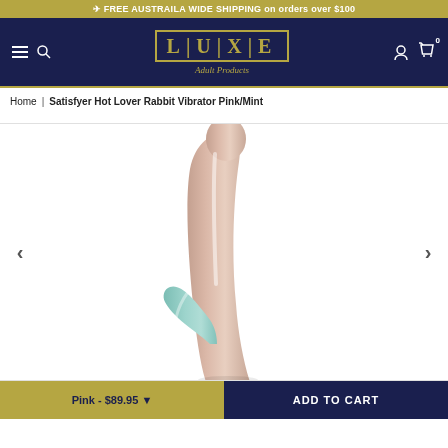FREE AUSTRAILA WIDE SHIPPING on orders over $100
[Figure (logo): LUXE Adult Products logo - gold text on dark navy background with decorative border]
Home | Satisfyer Hot Lover Rabbit Vibrator Pink/Mint
[Figure (photo): Product photo of Satisfyer Hot Lover Rabbit Vibrator in pink/mint colors on white background]
Pink - $89.95
ADD TO CART